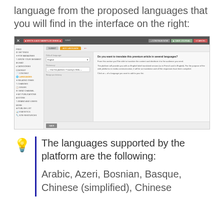language from the proposed languages that you will find in the interface on the right:
[Figure (screenshot): Screenshot of a web platform interface showing a language settings page with a sidebar navigation, toolbar with tabs including an active orange tab, and a right panel asking 'Do you want to translate this premium article in several languages?']
The languages supported by the platform are the following:
Arabic, Azeri, Bosnian, Basque, Chinese (simplified), Chinese